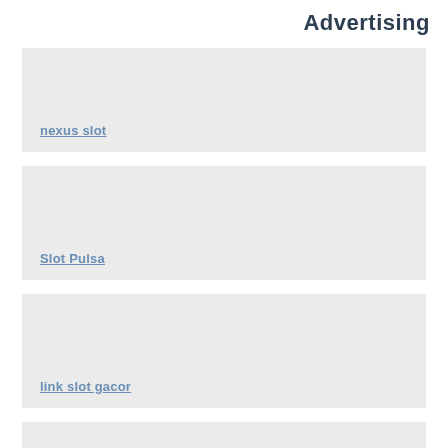Advertising
nexus slot
Slot Pulsa
link slot gacor